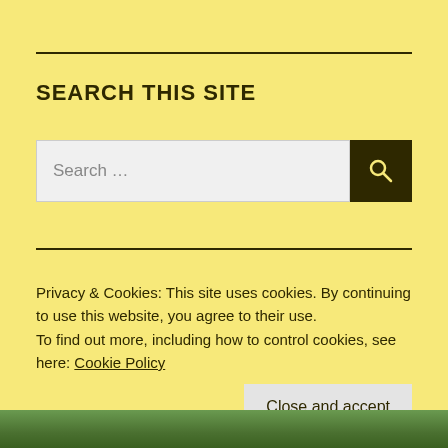SEARCH THIS SITE
[Figure (other): Search input box with dark search button containing a magnifying glass icon]
RECENT POSTS: DEVIZINE.COM
Privacy & Cookies: This site uses cookies. By continuing to use this website, you agree to their use.
To find out more, including how to control cookies, see here: Cookie Policy
[Figure (photo): Partial photo strip at the bottom showing outdoor scene with trees]